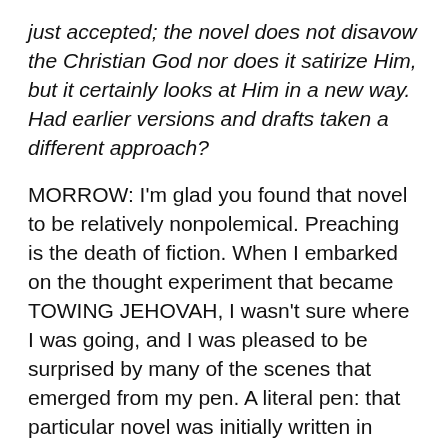just accepted; the novel does not disavow the Christian God nor does it satirize Him, but it certainly looks at Him in a new way. Had earlier versions and drafts taken a different approach?
MORROW: I'm glad you found that novel to be relatively nonpolemical. Preaching is the death of fiction. When I embarked on the thought experiment that became TOWING JEHOVAH, I wasn't sure where I was going, and I was pleased to be surprised by many of the scenes that emerged from my pen. A literal pen: that particular novel was initially written in longhand.
At the start of the project, I didn't realize TOWING JEHOVAH would give me a chance to satirize my own worldview in the form of the Central Park West Enlightenment League. Nor did I foresee the weirdly